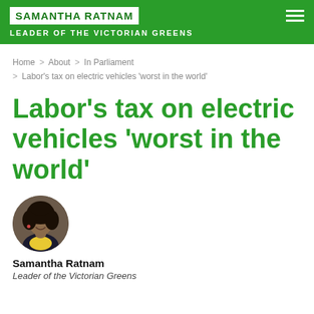SAMANTHA RATNAM — LEADER OF THE VICTORIAN GREENS
Home > About > In Parliament > Labor's tax on electric vehicles 'worst in the world'
Labor's tax on electric vehicles 'worst in the world'
[Figure (photo): Circular portrait photo of Samantha Ratnam, a woman with curly dark hair, smiling, wearing a dark top, against a blurred outdoor background.]
Samantha Ratnam
Leader of the Victorian Greens